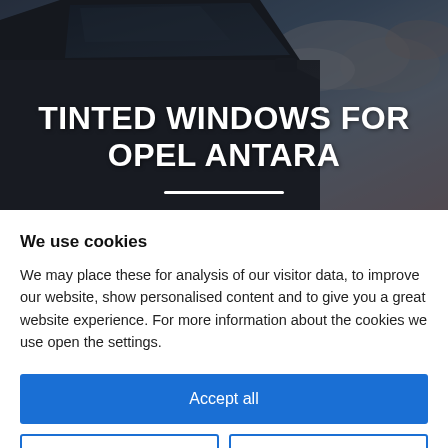[Figure (photo): Hero image of an Opel Antara car with tinted windows against a cloudy sky background, dark cinematic tone]
TINTED WINDOWS FOR OPEL ANTARA
We use cookies
We may place these for analysis of our visitor data, to improve our website, show personalised content and to give you a great website experience. For more information about the cookies we use open the settings.